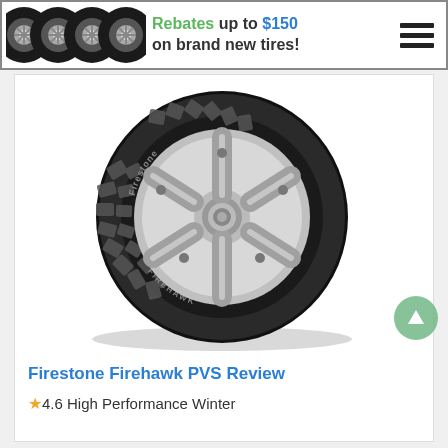[Figure (infographic): Banner advertisement showing four black alloy wheels/tires on the left, with text 'Rebates up to $150 on brand new tires!' and a hamburger menu icon on the right]
[Figure (photo): Firestone Firehawk PVS tire product photo showing a black winter tire with silver alloy wheel, tread pattern visible, Firestone branding on sidewall]
Firestone Firehawk PVS Review
★4.6 High Performance Winter